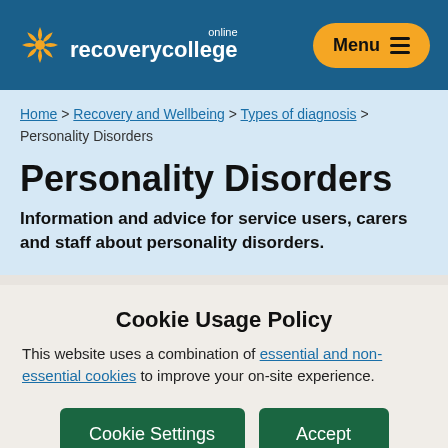Recovery College Online — Menu
Home > Recovery and Wellbeing > Types of diagnosis > Personality Disorders
Personality Disorders
Information and advice for service users, carers and staff about personality disorders.
Cookie Usage Policy
This website uses a combination of essential and non-essential cookies to improve your on-site experience.
Cookie Settings | Accept